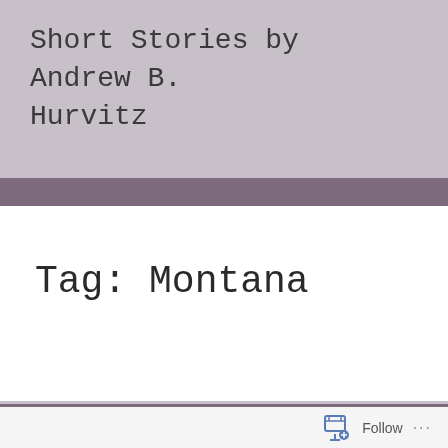Short Stories by Andrew B. Hurvitz
Tag: Montana
[Figure (other): Follow button widget with icon and ellipsis menu at bottom of page]